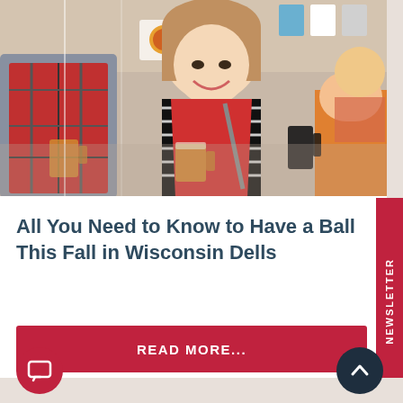[Figure (photo): People at a beer festival event, smiling woman in center wearing red vest and striped shirt holding a beer mug, sign reading '12 BEERS' in background]
All You Need to Know to Have a Ball This Fall in Wisconsin Dells
READ MORE...
NEWSLETTER